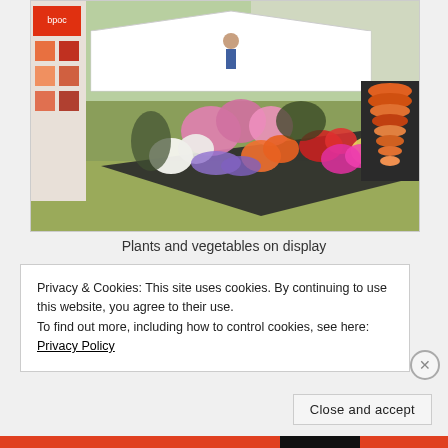[Figure (photo): A flower and vegetable display at an outdoor market or garden show. Various colorful flowers including pink, white, red, orange, and purple blooms are arranged in raised black beds on grass. A banner reading 'bpoc' is visible on the left, along with a marquee tent and people in the background.]
Plants and vegetables on display
Privacy & Cookies: This site uses cookies. By continuing to use this website, you agree to their use.
To find out more, including how to control cookies, see here: Privacy Policy